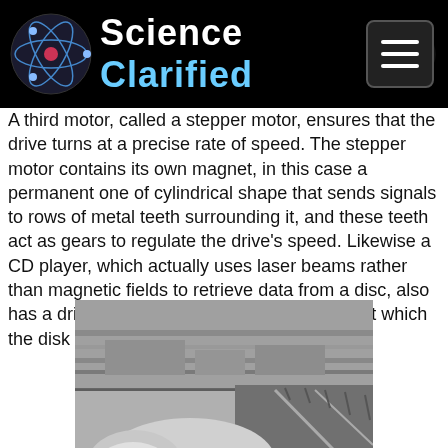Science Clarified
A third motor, called a stepper motor, ensures that the drive turns at a precise rate of speed. The stepper motor contains its own magnet, in this case a permanent one of cylindrical shape that sends signals to rows of metal teeth surrounding it, and these teeth act as gears to regulate the drive's speed. Likewise a CD player, which actually uses laser beams rather than magnetic fields to retrieve data from a disc, also has a drive system that regulates the speed at which the disk spins.
[Figure (photo): Black and white aerial photograph of a high-speed train (maglev or bullet train) on a rail track, with countryside and buildings visible in the background.]